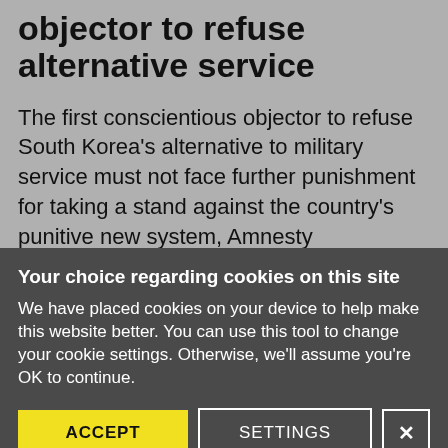objector to refuse alternative service
The first conscientious objector to refuse South Korea's alternative to military service must not face further punishment for taking a stand against the country's punitive new system, Amnesty International said ahead of
Your choice regarding cookies on this site
We have placed cookies on your device to help make this website better. You can use this tool to change your cookie settings. Otherwise, we'll assume you're OK to continue.